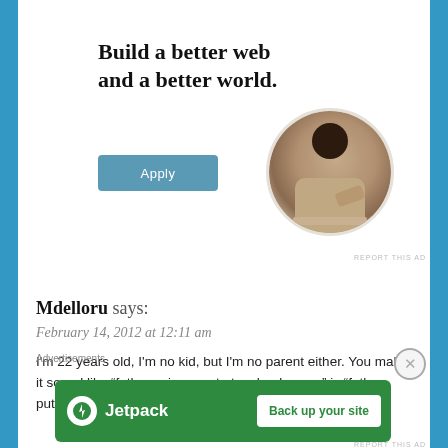[Figure (infographic): Ad banner: 'Build a better web and a better world.' with an Apply button and a circular photo of a man thinking at a desk]
REPORT THIS AD
Mdelloru says:
February 14, 2012 at 12:11 am
I'm 22 years old, I'm no kid, but I'm no parent either. You make it sound like “father using gun to teach a lesson,” is “father puts a bullet in daughter’s knee she doesn’t leave…
Advertisements
[Figure (infographic): Jetpack ad banner with green background: lightning bolt icon, 'Jetpack' text on left, 'Back up your site' white button on right]
REPORT THIS AD